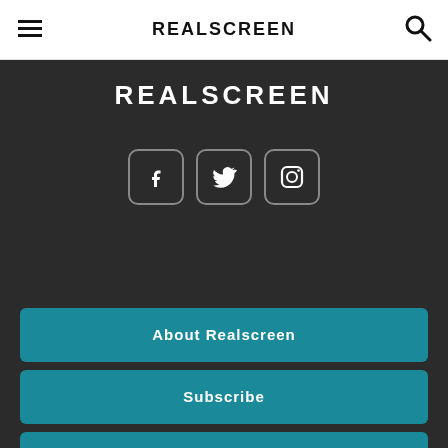REALSCREEN
[Figure (logo): REALSCREEN logo in white on dark background]
[Figure (illustration): Social media icons: Facebook, Twitter, Instagram in rounded square buttons]
About Realscreen
Subscribe
Contact Us
Advertising
Terms of Use